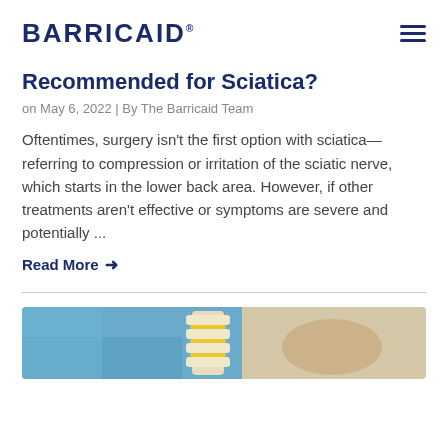BARRICAID
Recommended for Sciatica?
on May 6, 2022 | By The Barricaid Team
Oftentimes, surgery isn't the first option with sciatica—referring to compression or irritation of the sciatic nerve, which starts in the lower back area. However, if other treatments aren't effective or symptoms are severe and potentially ...
Read More →
[Figure (photo): Medical image showing a spine model with a surgeon or medical professional in blue scrubs in the background]